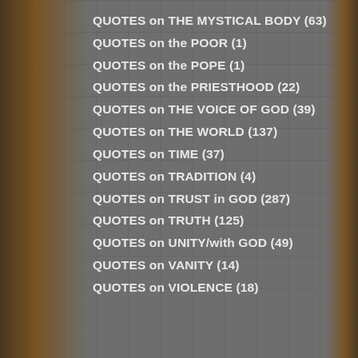QUOTES on THE MYSTICAL BODY (63)
QUOTES on the POOR (1)
QUOTES on the POPE (1)
QUOTES on the PRIESTHOOD (22)
QUOTES on THE VOICE OF GOD (39)
QUOTES on THE WORLD (137)
QUOTES on TIME (37)
QUOTES on TRADITION (4)
QUOTES on TRUST in GOD (287)
QUOTES on TRUTH (125)
QUOTES on UNITY/with GOD (49)
QUOTES on VANITY (14)
QUOTES on VIOLENCE (18)